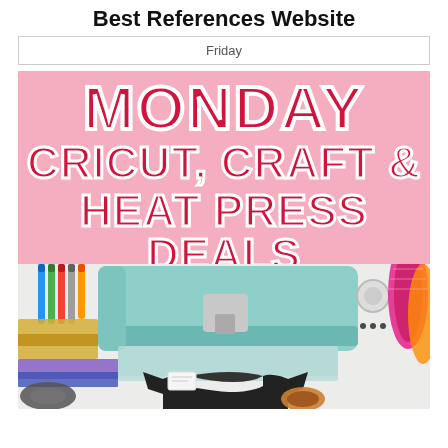Best References Website
Friday
[Figure (illustration): Promotional banner for Cyber Monday Cricut, Craft & Heat Press Deals. Pink background with bold red and white text reading MONDAY / CRICUT, CRAFT & / HEAT PRESS DEALS, below which is a photo of a mint-green Cricut cutting machine surrounded by markers, glitter foam, vinyl rolls, a dark t-shirt, and craft supplies on a white surface.]